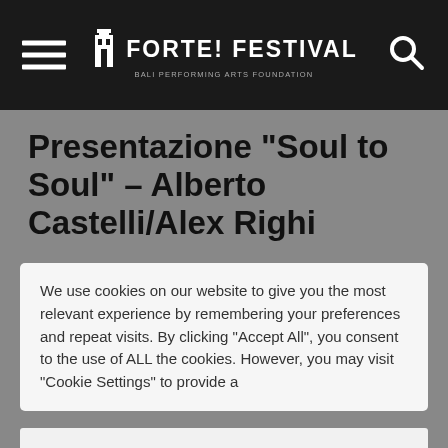FORTE! FESTIVAL
Presentazione “Soul to Soul” – Alberto Castelli/Alex Righi
We use cookies on our website to give you the most relevant experience by remembering your preferences and repeat visits. By clicking “Accept All”, you consent to the use of ALL the cookies. However, you may visit "Cookie Settings" to provide a...